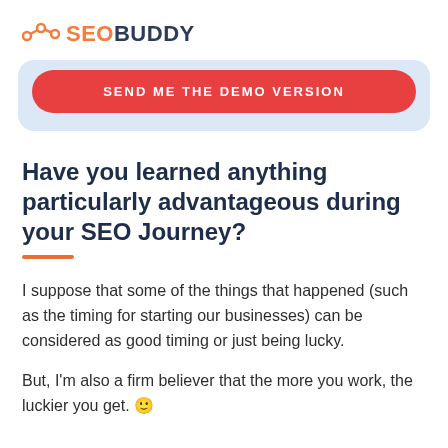SEOBUDDY
[Figure (other): SEO Buddy logo with orange graph icon and two-tone text: orange SEO and dark blue BUDDY]
[Figure (other): Light blue rounded CTA box with red rounded button labeled SEND ME THE DEMO VERSION]
Have you learned anything particularly advantageous during your SEO Journey?
I suppose that some of the things that happened (such as the timing for starting our businesses) can be considered as good timing or just being lucky.
But, I'm also a firm believer that the more you work, the luckier you get. 🙂